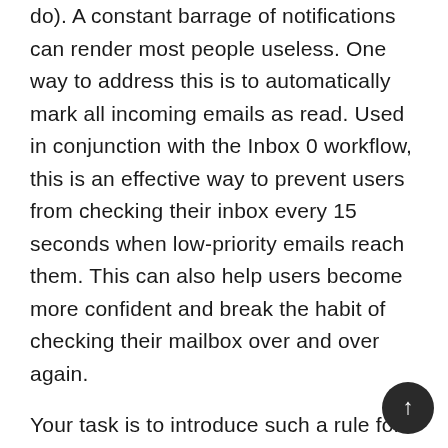do). A constant barrage of notifications can render most people useless. One way to address this is to automatically mark all incoming emails as read. Used in conjunction with the Inbox 0 workflow, this is an effective way to prevent users from checking their inbox every 15 seconds when low-priority emails reach them. This can also help users become more confident and break the habit of checking their mailbox over and over again.
Your task is to introduce such a rule for all mailboxes in the company. You can do this with a few simple lines of PowerShell code. To make things more interesting, let's add an exception: an email shouldn't be automatically marked as